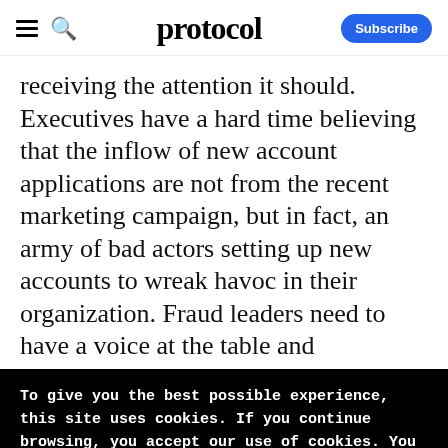protocol — Subscribe
receiving the attention it should. Executives have a hard time believing that the inflow of new account applications are not from the recent marketing campaign, but in fact, an army of bad actors setting up new accounts to wreak havoc in their organization. Fraud leaders need to have a voice at the table and
To give you the best possible experience, this site uses cookies. If you continue browsing, you accept our use of cookies. You can review our privacy policy to find out more about the cookies we use.
Accept